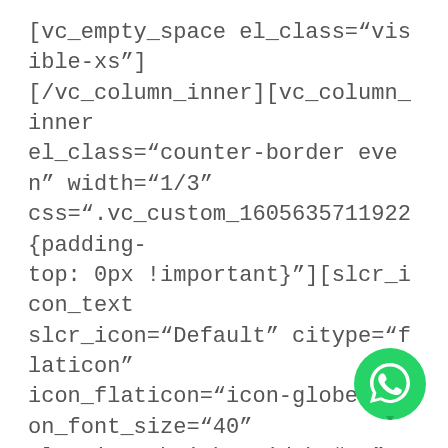[vc_empty_space el_class="visible-xs"][/vc_column_inner][vc_column_inner el_class="counter-border even" width="1/3" css=".vc_custom_1605635711922{padding-top: 0px !important}"][slcr_icon_text slcr_icon="Default" citype="flaticon" icon_flaticon="icon-globe" icon_font_size="40" slcr_icon_height_width="40" content_text_transform="Default" add_icon="true" slcr_icon_font_color="#a47355" slcr_icon_bg_color="#ffffff" slcr_icon_border_color="#ffffff"
[Figure (logo): WhatsApp icon button (green circle with white phone handset)]